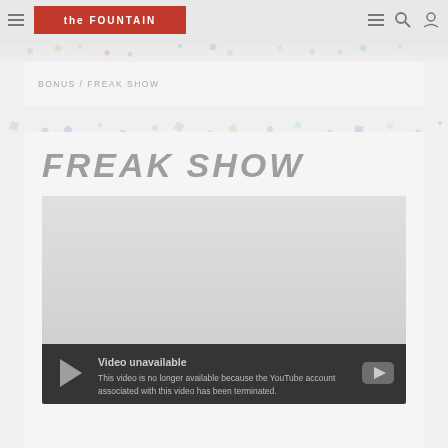Navigation bar with hamburger menu, logo, and icons
BONUS / FREAK SHOW
FREAK SHOW
[Figure (screenshot): Embedded YouTube video player showing 'Video unavailable' error message. The error text reads: 'Video unavailable. This video is no longer available because the YouTube account associated with this video has been terminated.']